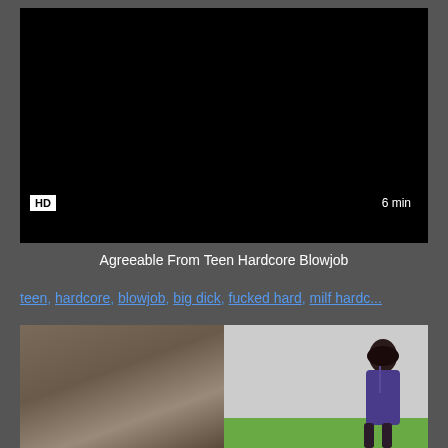[Figure (screenshot): Black video thumbnail with HD badge bottom-left and '6 min' duration badge bottom-right]
Agreeable From Teen Hardcore Blowjob
teen, hardcore, blowjob, big dick, fucked hard, milf hardc...
[Figure (photo): Two thumbnail preview images side by side: left shows curtains/drapes in dark tones, right shows a dark-haired woman sitting on a green couch against a white wall]